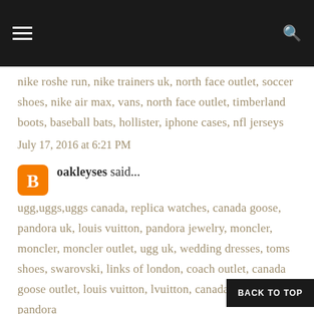Navigation bar with hamburger menu and search icon
nike roshe run, nike trainers uk, north face outlet, soccer shoes, nike air max, vans, north face outlet, timberland boots, baseball bats, hollister, iphone cases, nfl jerseys
July 17, 2016 at 6:21 PM
oakleyses said...
ugg,uggs,uggs canada, replica watches, canada goose, pandora uk, louis vuitton, pandora jewelry, moncler, moncler, moncler outlet, ugg uk, wedding dresses, toms shoes, swarovski, links of london, coach outlet, canada goose outlet, louis vuitton, louis vuitton, canada goose outlet, pandora